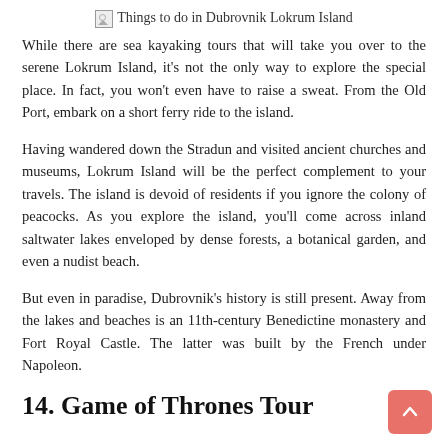[Figure (other): Broken image placeholder with caption: Things to do in Dubrovnik Lokrum Island]
While there are sea kayaking tours that will take you over to the serene Lokrum Island, it’s not the only way to explore the special place. In fact, you won’t even have to raise a sweat. From the Old Port, embark on a short ferry ride to the island.
Having wandered down the Stradun and visited ancient churches and museums, Lokrum Island will be the perfect complement to your travels. The island is devoid of residents if you ignore the colony of peacocks. As you explore the island, you’ll come across inland saltwater lakes enveloped by dense forests, a botanical garden, and even a nudist beach.
But even in paradise, Dubrovnik’s history is still present. Away from the lakes and beaches is an 11th-century Benedictine monastery and Fort Royal Castle. The latter was built by the French under Napoleon.
14. Game of Thrones Tour